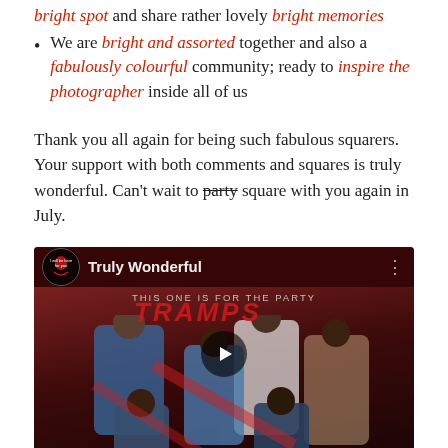bright spot and share rather lovely bright memories
We are bright and assorted together and also a fabulously colourful community; ready to inspire the photographer inside all of us
Thank you all again for being such fabulous squarers. Your support with both comments and squares is truly wonderful. Can't wait to party square with you again in July.
[Figure (screenshot): YouTube video thumbnail embed showing 'Truly Wonderful' by channel 'I will be here for you'. The thumbnail shows The Tramps music group with the top text 'THIS ONE IS FOR THE PARTY', dark red background with people in the image. A play button is visible in the center.]